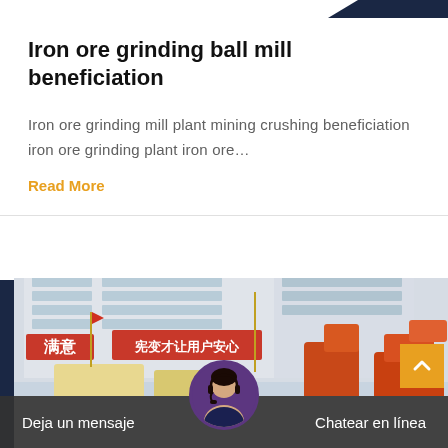Iron ore grinding ball mill beneficiation
Iron ore grinding mill plant mining crushing beneficiation iron ore grinding plant iron ore…
Read More
[Figure (photo): Factory building with Chinese characters on facade and orange industrial equipment (crushers) in foreground]
Deja un mensaje
Chatear en línea